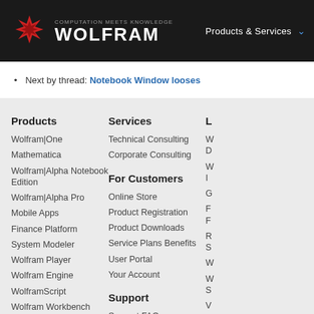COMPUTATION MEETS KNOWLEDGE WOLFRAM | Products & Services
Next by thread: Notebook Window looses...
Products
Wolfram|One
Mathematica
Wolfram|Alpha Notebook Edition
Wolfram|Alpha Pro
Mobile Apps
Finance Platform
System Modeler
Wolfram Player
Wolfram Engine
WolframScript
Wolfram Workbench
Volume & Site Licensing
Enterprise Private Cloud
Application Server
Services
Technical Consulting
Corporate Consulting
For Customers
Online Store
Product Registration
Product Downloads
Service Plans Benefits
User Portal
Your Account
Support
Support FAQ
Customer Service